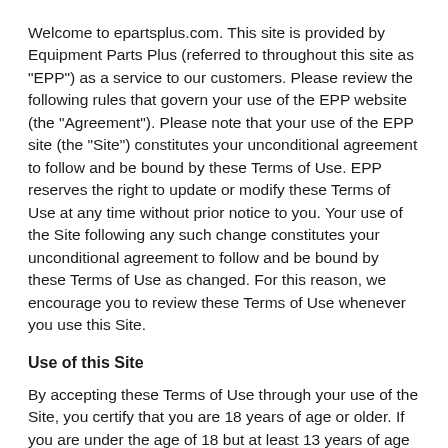Welcome to epartsplus.com. This site is provided by Equipment Parts Plus (referred to throughout this site as "EPP") as a service to our customers. Please review the following rules that govern your use of the EPP website (the "Agreement"). Please note that your use of the EPP site (the "Site") constitutes your unconditional agreement to follow and be bound by these Terms of Use. EPP reserves the right to update or modify these Terms of Use at any time without prior notice to you. Your use of the Site following any such change constitutes your unconditional agreement to follow and be bound by these Terms of Use as changed. For this reason, we encourage you to review these Terms of Use whenever you use this Site.
Use of this Site
By accepting these Terms of Use through your use of the Site, you certify that you are 18 years of age or older. If you are under the age of 18 but at least 13 years of age you may use this Site only under the supervision of a parent or legal guardian who agrees to be bound by these Terms of Use. EPP does not intentionally collect personal information about children under the age of 13. Children under the age of 13